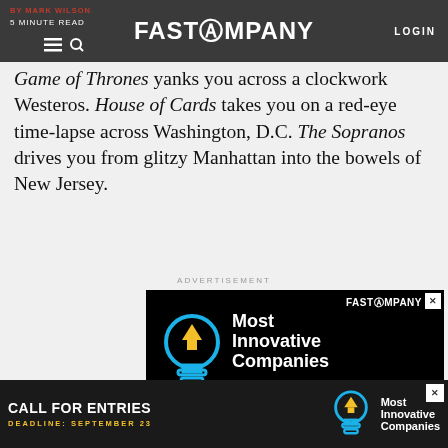BY MARK WILSON | 5 MINUTE READ | FAST COMPANY | LOGIN
Game of Thrones yanks you across a clockwork Westeros. House of Cards takes you on a red-eye time-lapse across Washington, D.C. The Sopranos drives you from glitzy Manhattan into the bowels of New Jersey.
ADVERTISEMENT
[Figure (infographic): Fast Company advertisement for Most Innovative Companies - Call for Entries with lightbulb logo]
[Figure (infographic): Bottom banner ad: Call For Entries, Deadline: September 23, Most Innovative Companies]